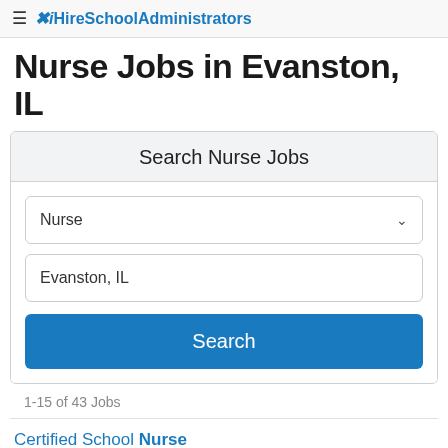≡ iHireSchoolAdministrators
Nurse Jobs in Evanston, IL
Search Nurse Jobs
Nurse [dropdown]
Evanston, IL
Search
1-15 of 43 Jobs
Certified School Nurse
Chicago, IL (10 miles from Evanston, IL) 3 days ago
We are seeking a passionate, nurturing, and high qualified